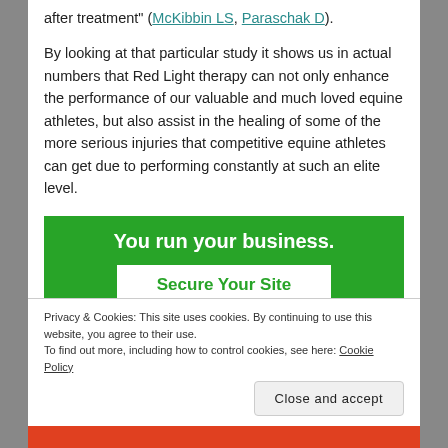after treatment" (McKibbin LS, Paraschak D).
By looking at that particular study it shows us in actual numbers that Red Light therapy can not only enhance the performance of our valuable and much loved equine athletes, but also assist in the healing of some of the more serious injuries that competitive equine athletes can get due to performing constantly at such an elite level.
[Figure (infographic): Green advertisement banner reading 'You run your business.' with a white button labeled 'Secure Your Site']
Privacy & Cookies: This site uses cookies. By continuing to use this website, you agree to their use.
To find out more, including how to control cookies, see here: Cookie Policy
Close and accept